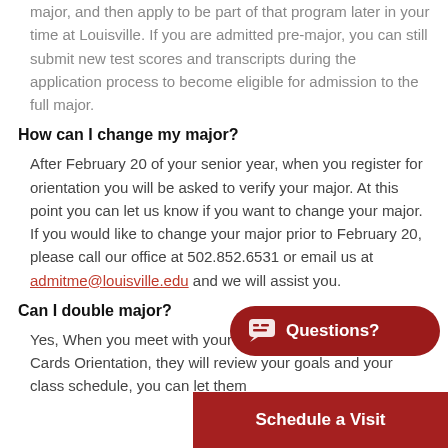major, and then apply to be part of that program later in your time at Louisville. If you are admitted pre-major, you can still submit new test scores and transcripts during the application process to become eligible for admission to the full major.
How can I change my major?
After February 20 of your senior year, when you register for orientation you will be asked to verify your major. At this point you can let us know if you want to change your major. If you would like to change your major prior to February 20, please call our office at 502.852.6531 or email us at admitme@louisville.edu and we will assist you.
Can I double major?
Yes, When you meet with your academic advisor at New Cards Orientation, they will review your goals and your class schedule, you can let them